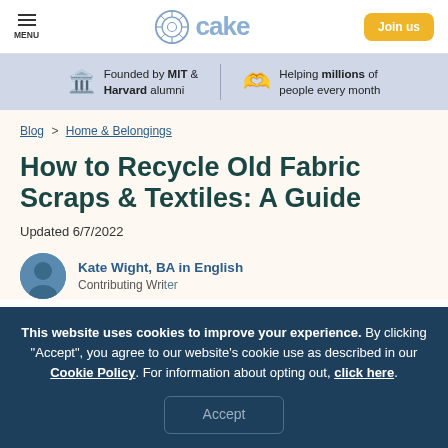MENU | cake | Join us
Founded by MIT & Harvard alumni | Helping millions of people every month
Blog > Home & Belongings
How to Recycle Old Fabric Scraps & Textiles: A Guide
Updated 6/7/2022
Kate Wight, BA in English
Contributing Writer
This website uses cookies to improve your experience. By clicking "Accept", you agree to our website's cookie use as described in our Cookie Policy. For information about opting out, click here.
Accept